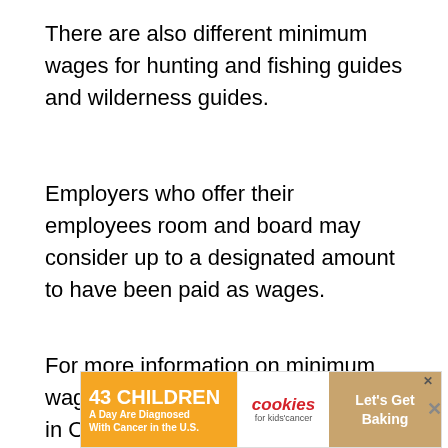There are also different minimum wages for hunting and fishing guides and wilderness guides.
Employers who offer their employees room and board may consider up to a designated amount to have been paid as wages.
For more information on minimum wages and employment standards in Ontario, click here.
[Figure (other): Advertisement banner: '43 CHILDREN A Day Are Diagnosed With Cancer in the U.S.' with cookies for kids' cancer logo and 'Let's Get Baking' text]